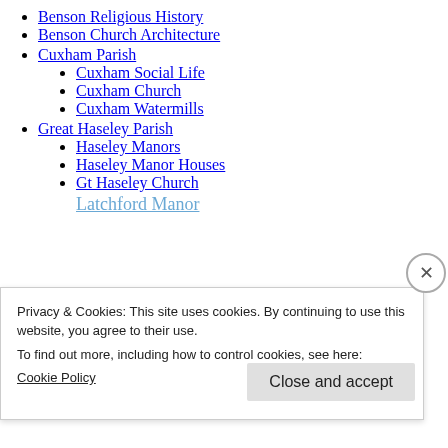Benson Religious History
Benson Church Architecture
Cuxham Parish
Cuxham Social Life
Cuxham Church
Cuxham Watermills
Great Haseley Parish
Haseley Manors
Haseley Manor Houses
Gt Haseley Church
Latchford Manor (partially visible)
Privacy & Cookies: This site uses cookies. By continuing to use this website, you agree to their use.
To find out more, including how to control cookies, see here:
Cookie Policy
Close and accept